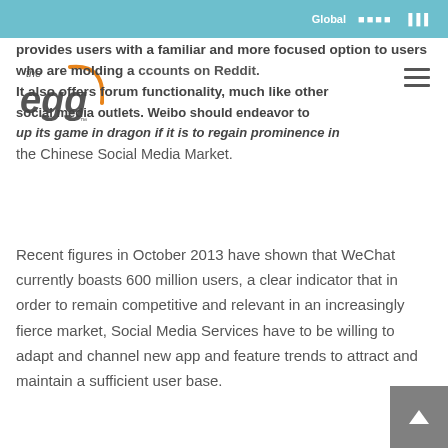Global
[Figure (logo): The Egg company logo — orange arc over stylized 'egg' text with 'the' above]
provides users with a familiar and more focused option to users who are holding accounts on Reddit. It also offers forum functionality, much like other social media outlets. Weibo should endeavor to up its game in dragon if it is to regain prominence in the Chinese Social Media Market.
Recent figures in October 2013 have shown that WeChat currently boasts 600 million users, a clear indicator that in order to remain competitive and relevant in an increasingly fierce market, Social Media Services have to be willing to adapt and channel new app and feature trends to attract and maintain a sufficient user base.